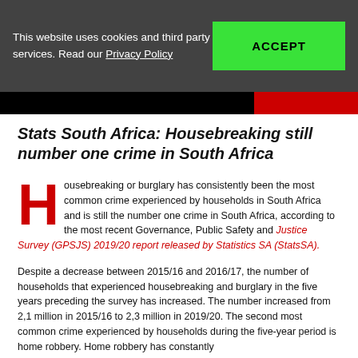This website uses cookies and third party services. Read our Privacy Policy
Stats South Africa: Housebreaking still number one crime in South Africa
Housebreaking or burglary has consistently been the most common crime experienced by households in South Africa and is still the number one crime in South Africa, according to the most recent Governance, Public Safety and Justice Survey (GPSJS) 2019/20 report released by Statistics SA (StatsSA).
Despite a decrease between 2015/16 and 2016/17, the number of households that experienced housebreaking and burglary in the five years preceding the survey has increased. The number increased from 2,1 million in 2015/16 to 2,3 million in 2019/20. The second most common crime experienced by households during the five-year period is home robbery. Home robbery has constantly declined between 2015/16 (760 000) and 2019/20 (445 000). It...